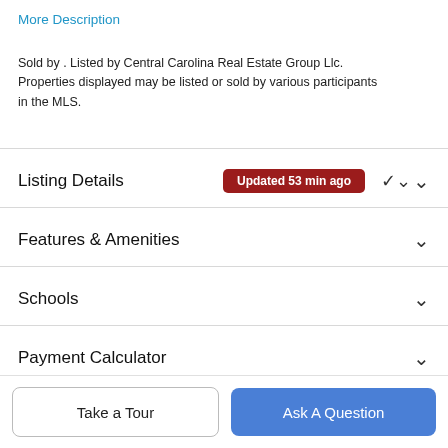More Description
Sold by . Listed by Central Carolina Real Estate Group Llc. Properties displayed may be listed or sold by various participants in the MLS.
Listing Details  Updated 53 min ago
Features & Amenities
Schools
Payment Calculator
Contact Agent
Take a Tour
Ask A Question